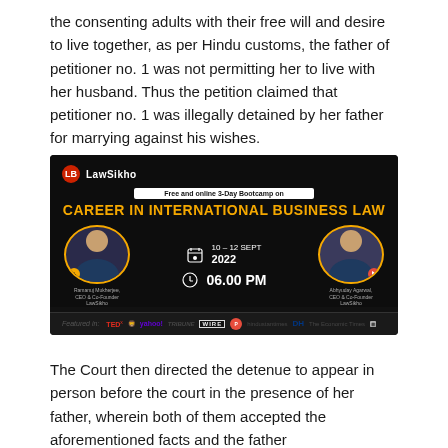the consenting adults with their free will and desire to live together, as per Hindu customs, the father of petitioner no. 1 was not permitting her to live with her husband. Thus the petition claimed that petitioner no. 1 was illegally detained by her father for marrying against his wishes.
[Figure (infographic): LawSikho advertisement for a free online 3-Day Bootcamp on Career in International Business Law, 10-12 Sept 2022, 06.00 PM. Features two speakers in suits. Featured in TEDx, yahoo!, TRIBUNE, WIRE, The Print, Hindustan Times, DH, The Economic Times, The Hindu.]
The Court then directed the detenue to appear in person before the court in the presence of her father, wherein both of them accepted the aforementioned facts and the father